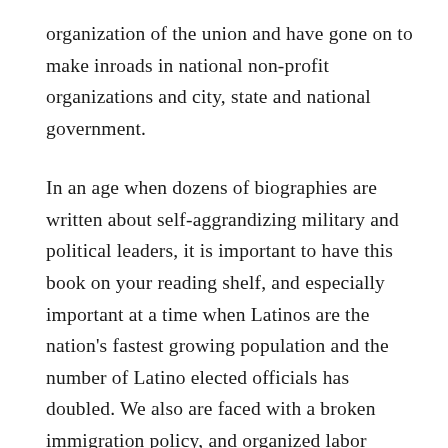organization of the union and have gone on to make inroads in national non-profit organizations and city, state and national government.
In an age when dozens of biographies are written about self-aggrandizing military and political leaders, it is important to have this book on your reading shelf, and especially important at a time when Latinos are the nation's fastest growing population and the number of Latino elected officials has doubled. We also are faced with a broken immigration policy, and organized labor unions in this country are under siege.